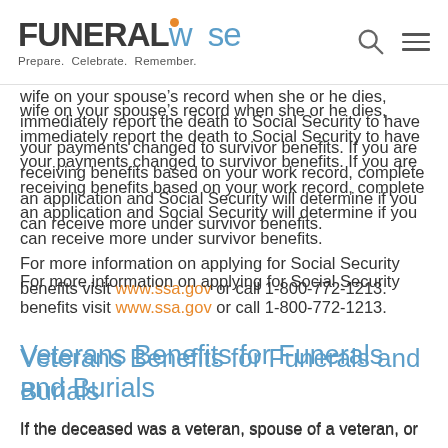FUNERALwise — Prepare. Celebrate. Remember.
wife on your spouse's record when she or he dies, immediately report the death to Social Security to have your payments changed to survivor benefits. If you are receiving benefits based on your work record, complete an application and Social Security will determine if you can receive more under survivor benefits.
For more information on applying for Social Security benefits visit www.ssa.gov or call 1-800-772-1213.
Veterans Benefits for Funerals and Burials
If the deceased was a veteran, spouse of a veteran, or the minor child of a veteran you may be eligible to